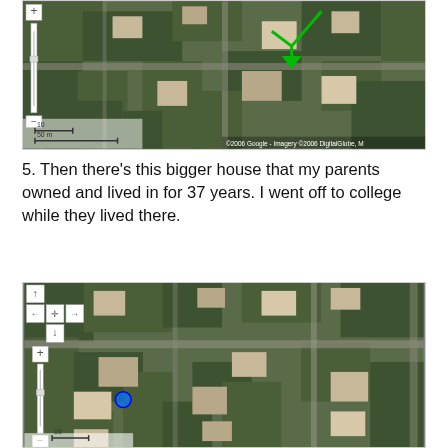[Figure (map): Google Maps satellite aerial view of a residential neighborhood with trees and houses. A green arrow annotation points to a specific location. Scale bar shows 10m and 50m. Copyright 2006 Google, Imagery 2006 DigitalGlobe.]
5. Then there's this bigger house that my parents owned and lived in for 37 years. I went off to college while they lived there.
[Figure (map): Google Maps satellite aerial view of a residential neighborhood with trees, houses, and roads. Navigation controls visible on left side. A green arrow annotation points to a specific house location. Scale bar visible at bottom left.]